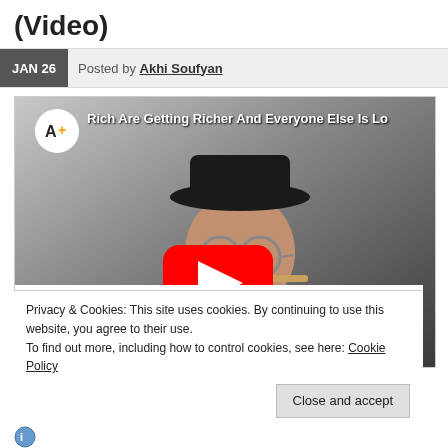(Video)
JAN 26   Posted by Akhi Soufyan
[Figure (screenshot): YouTube video thumbnail showing a man in a bowler hat and round sunglasses smoking a cigar, holding a wine glass. The video title reads 'Rich Are Getting Richer And Everyone Else Is Lo...' with the AJ+ channel logo and a YouTube play button overlay.]
Privacy & Cookies: This site uses cookies. By continuing to use this website, you agree to their use.
To find out more, including how to control cookies, see here: Cookie Policy
Close and accept